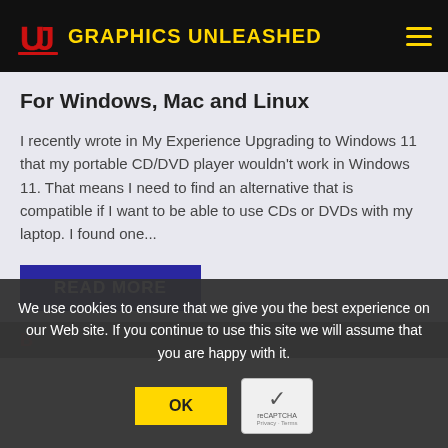GRAPHICS UNLEASHED
For Windows, Mac and Linux
I recently wrote in My Experience Upgrading to Windows 11 that my portable CD/DVD player wouldn't work in Windows 11. That means I need to find an alternative that is compatible if I want to be able to use CDs or DVDs with my laptop. I found one...
READ MORE
We use cookies to ensure that we give you the best experience on our Web site. If you continue to use this site we will assume that you are happy with it.
OK